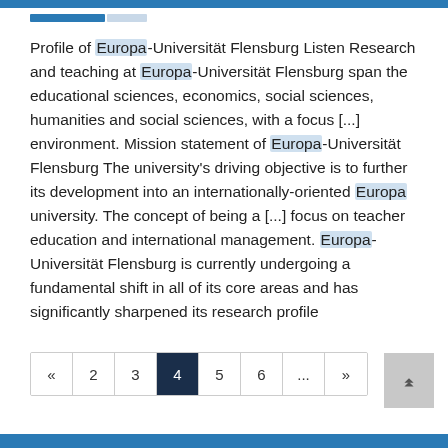progress bar indicator
Profile of Europa-Universität Flensburg Listen Research and teaching at Europa-Universität Flensburg span the educational sciences, economics, social sciences, humanities and social sciences, with a focus [...] environment. Mission statement of Europa-Universität Flensburg The university's driving objective is to further its development into an internationally-oriented Europa university. The concept of being a [...] focus on teacher education and international management. Europa-Universität Flensburg is currently undergoing a fundamental shift in all of its core areas and has significantly sharpened its research profile
pagination: « 2 3 4 5 6 ... »